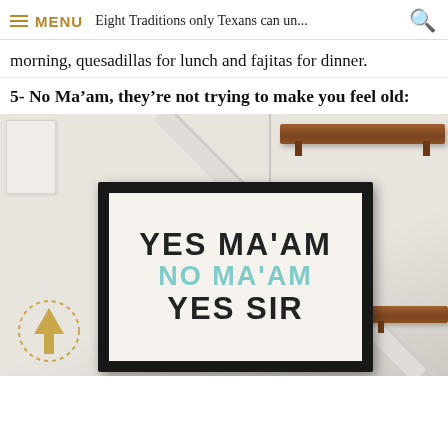MENU | Eight Traditions only Texans can un...
morning, quesadillas for lunch and fajitas for dinner.
5- No Ma’am, they’re not trying to make you feel old:
[Figure (photo): Photo of a framed print on a wall with wooden shelves. The framed print reads 'YES MA'AM / NO MA'AM / YES SIR' in bold serif font, with the middle line in teal/light blue. An upward arrow in a dotted circle is visible in the lower left corner.]